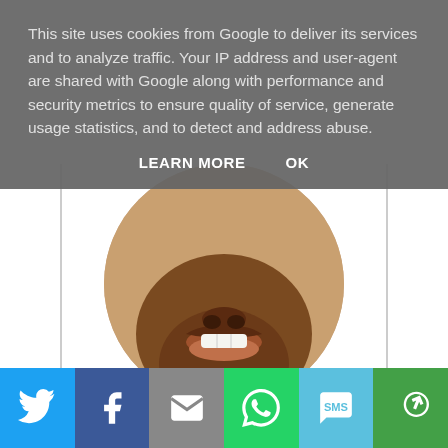This site uses cookies from Google to deliver its services and to analyze traffic. Your IP address and user-agent are shared with Google along with performance and security metrics to ensure quality of service, generate usage statistics, and to detect and address abuse.
LEARN MORE   OK
[Figure (photo): Circular cropped photo showing the lower face and smile of a dark-skinned person, from nose down to chin, against a light background.]
I'm Anyonita, an American living in Britain. I was diagnosed with Coeliac Disease as an adult. I am passionate about recreating traditional foods with a gluten-free makeover. Follow my easy, triple-tested recipes to make dishes you wouldn't believe were
[Figure (infographic): Social sharing bar at the bottom with six colored buttons: Twitter (blue bird icon), Facebook (dark blue f icon), Email (grey envelope icon), WhatsApp (green phone icon), SMS (light blue SMS speech bubble icon), Share (green circular arrows icon).]